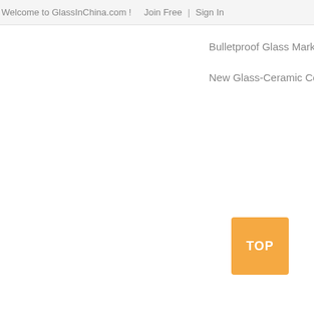Welcome to GlassInChina.com !    Join Free  |  Sign In
Bulletproof Glass Market
New Glass-Ceramic Cou
TOP